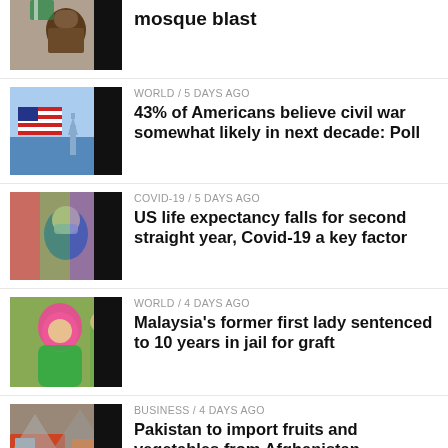[Figure (photo): Bearded man in white and green turban]
mosque blast
[Figure (photo): American flag with Statue of Liberty]
WORLD / 5 days ago
43% of Americans believe civil war somewhat likely in next decade: Poll
[Figure (photo): Person in mask with colourful background]
COVID-19 / 5 days ago
US life expectancy falls for second straight year, Covid-19 a key factor
[Figure (photo): Woman in pink and green hijab at a rally]
WORLD / 4 days ago
Malaysia's former first lady sentenced to 10 years in jail for graft
[Figure (photo): Trucks on a road in mountainous region]
BUSINESS / 4 days ago
Pakistan to import fruits and vegetables from Afghanistan
[Figure (photo): Partial thumbnail at bottom]
LATEST NEWS / 4 days ago